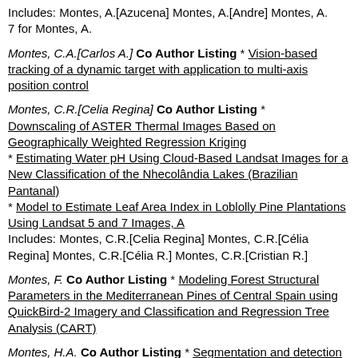Includes: Montes, A.[Azucena] Montes, A.[Andre] Montes, A. 7 for Montes, A.
Montes, C.A.[Carlos A.] Co Author Listing * Vision-based tracking of a dynamic target with application to multi-axis position control
Montes, C.R.[Celia Regina] Co Author Listing * Downscaling of ASTER Thermal Images Based on Geographically Weighted Regression Kriging
* Estimating Water pH Using Cloud-Based Landsat Images for a New Classification of the Nhecolândia Lakes (Brazilian Pantanal)
* Model to Estimate Leaf Area Index in Loblolly Pine Plantations Using Landsat 5 and 7 Images, A
Includes: Montes, C.R.[Celia Regina] Montes, C.R.[Célia Regina] Montes, C.R.[Célia R.] Montes, C.R.[Cristian R.]
Montes, F. Co Author Listing * Modeling Forest Structural Parameters in the Mediterranean Pines of Central Spain using QuickBird-2 Imagery and Classification and Regression Tree Analysis (CART)
Montes, H.A. Co Author Listing * Segmentation and detection from organised 3D point clouds: A case study in...